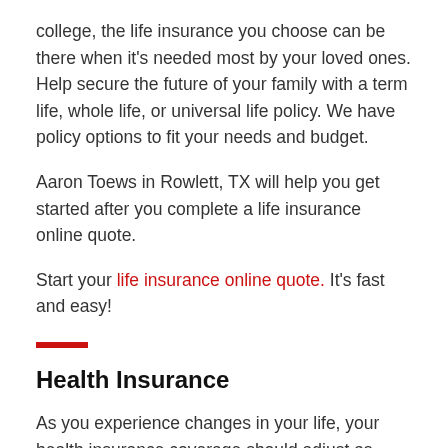college, the life insurance you choose can be there when it's needed most by your loved ones. Help secure the future of your family with a term life, whole life, or universal life policy. We have policy options to fit your needs and budget.
Aaron Toews in Rowlett, TX will help you get started after you complete a life insurance online quote.
Start your life insurance online quote. It's fast and easy!
Health Insurance
As you experience changes in your life, your health insurance coverage should adjust as well. Let State Farm help you find the right policy for health insurance in Rowlett, TX. We offer a variety of affordable...